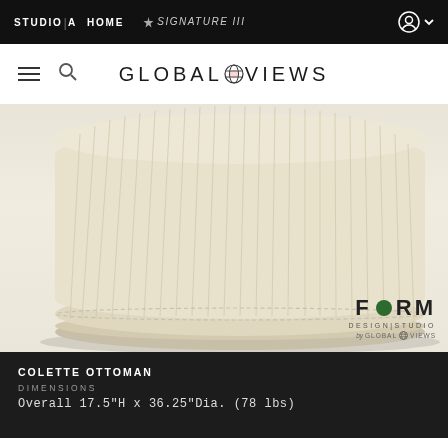STUDIO|A  HOME  SIGNATURE III
[Figure (logo): Global Views logo with globe icon]
[Figure (photo): Close-up photo of the Colette Ottoman, a round pleated cream/beige upholstered ottoman with a circular base, seen from slightly above. FORM Design Studio by Global Views logo in lower right.]
COLETTE OTTOMAN
DIMENSIONS
Overall 17.5"H x 36.25"Dia. (78 lbs)
[Figure (photo): Partial view of a second product - appears to be a dark grey/charcoal geometric tray or box, partially visible at bottom of page.]